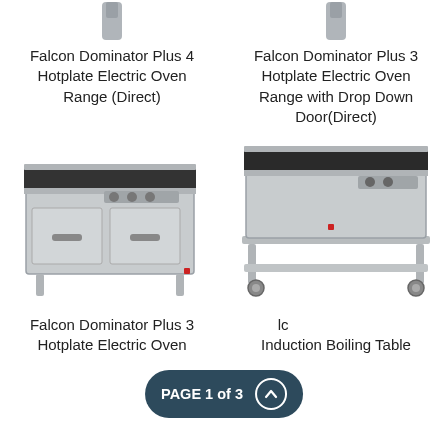[Figure (photo): Falcon Dominator Plus 4 Hotplate Electric Oven Range (Direct) - stainless steel commercial oven range with two cabinet doors and four hotplates on top, on legs]
Falcon Dominator Plus 4 Hotplate Electric Oven Range (Direct)
[Figure (photo): Falcon Dominator Plus 3 Hotplate Electric Oven Range with Drop Down Door (Direct) - stainless steel commercial hotplate unit on wheeled stand with lower shelf]
Falcon Dominator Plus 3 Hotplate Electric Oven Range with Drop Down Door(Direct)
[Figure (photo): Falcon Dominator Plus 3 Hotplate Electric Oven (partial view at bottom)]
Falcon Dominator Plus 3 Hotplate Electric Oven
[Figure (photo): Falcon Dominator Plus Induction Boiling Table (partial view at bottom, partially obscured by page badge)]
Falcon Dominator Plus Induction Boiling Table
PAGE 1 of 3